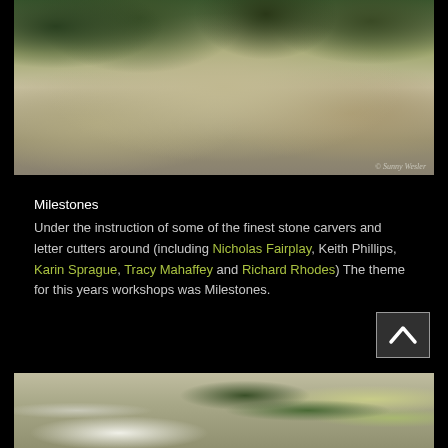[Figure (photo): Group photo of people standing and sitting in front of a stone wall structure outdoors, surrounded by trees. Photo credit: © Sunny Wesler.]
Milestones
Under the instruction of some of the finest stone carvers and letter cutters around (including Nicholas Fairplay, Keith Phillips, Karin Sprague, Tracy Mahaffey and Richard Rhodes) The theme for this years workshops was Milestones.
[Figure (photo): Partial photo at the bottom of the page showing outdoor scene with umbrella, trees, and flags in the background.]